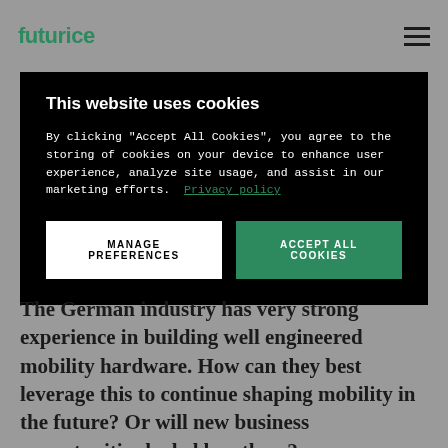futurice
This website uses cookies
By clicking "Accept All Cookies", you agree to the storing of cookies on your device to enhance user experience, analyze site usage, and assist in our marketing efforts. Privacy policy
MANAGE PREFERENCES
ACCEPT ALL COOKIES
The German industry has very strong experience in building well engineered mobility hardware. How can they best leverage this to continue shaping mobility in the future? Or will new business opportunities be led by others?